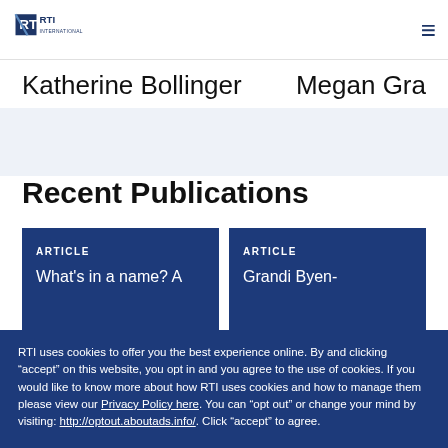RTI International
Katherine Bollinger    Megan Gra...
Recent Publications
ARTICLE
What's in a name? A
ARTICLE
Grandi Byen-
RTI uses cookies to offer you the best experience online. By and clicking “accept” on this website, you opt in and you agree to the use of cookies. If you would like to know more about how RTI uses cookies and how to manage them please view our Privacy Policy here. You can “opt out” or change your mind by visiting: http://optout.aboutads.info/. Click “accept” to agree.
ACCEPT